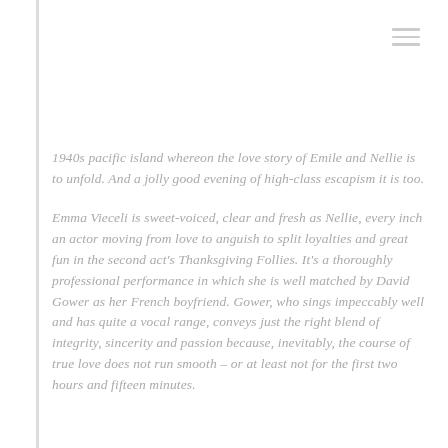1940s pacific island whereon the love story of Emile and Nellie is to unfold. And a jolly good evening of high-class escapism it is too.
Emma Vieceli is sweet-voiced, clear and fresh as Nellie, every inch an actor moving from love to anguish to split loyalties and great fun in the second act's Thanksgiving Follies. It's a thoroughly professional performance in which she is well matched by David Gower as her French boyfriend. Gower, who sings impeccably well and has quite a vocal range, conveys just the right blend of integrity, sincerity and passion because, inevitably, the course of true love does not run smooth – or at least not for the first two hours and fifteen minutes.